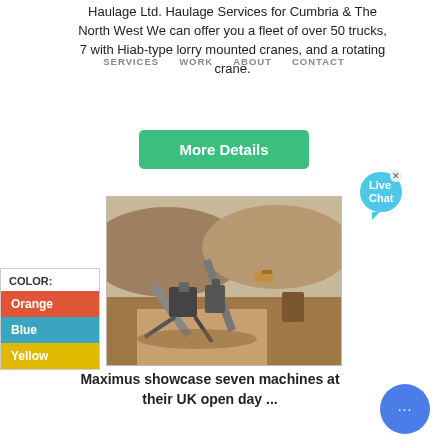Haulage Ltd. Haulage Services for Cumbria & The North West We can offer you a fleet of over 50 trucks, 7 with Hiab-type lorry mounted cranes, and a rotating crane.
SERVICES  WORK  ABOUT  CONTACT
More Details
[Figure (screenshot): Live Chat bubble widget, teal/blue speech bubble with 'Live Chat' text and an X close button]
[Figure (photo): Quarry site with heavy machinery, conveyor belts, and excavators in a dusty desert landscape]
COLOR:
Orange
Blue
Yellow
Maximus showcase seven machines at their UK open day ...
[Figure (screenshot): Blue circular chat button with three dots (live chat widget)]